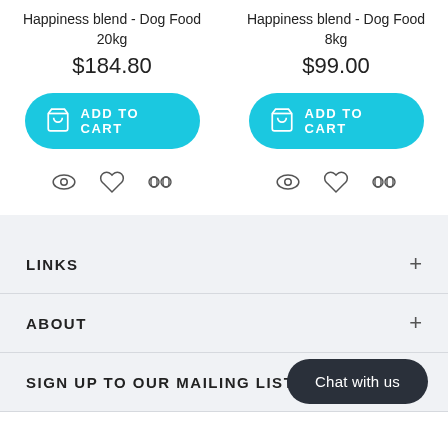Happiness blend - Dog Food 20kg
$184.80
ADD TO CART
Happiness blend - Dog Food 8kg
$99.00
ADD TO CART
LINKS
ABOUT
SIGN UP TO OUR MAILING LIST
Chat with us